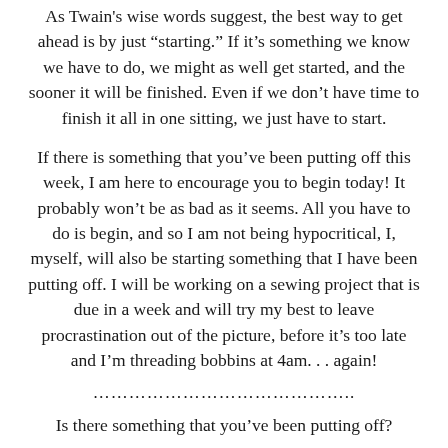As Twain’s wise words suggest, the best way to get ahead is by just “starting.” If it’s something we know we have to do, we might as well get started, and the sooner it will be finished. Even if we don’t have time to finish it all in one sitting, we just have to start.
If there is something that you’ve been putting off this week, I am here to encourage you to begin today! It probably won’t be as bad as it seems. All you have to do is begin, and so I am not being hypocritical, I, myself, will also be starting something that I have been putting off. I will be working on a sewing project that is due in a week and will try my best to leave procrastination out of the picture, before it’s too late and I’m threading bobbins at 4am. . . again!
………………………………………..
Is there something that you’ve been putting off?